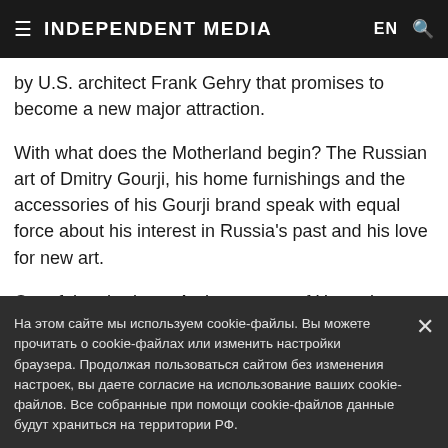INDEPENDENT MEDIA
by U.S. architect Frank Gehry that promises to become a new major attraction.
With what does the Motherland begin? The Russian art of Dmitry Gourji, his home furnishings and the accessories of his Gourji brand speak with equal force about his interest in Russia's past and his love for new art.
Out of the shadows. At the request of Harper's Bazaar Art, artist Mikhail Molochnikov created the exceptional settings that famous jewelry house products deserve. Strokes, lines and
На этом сайте мы используем cookie-файлы. Вы можете прочитать о cookie-файлах или изменить настройки браузера. Продолжая пользоваться сайтом без изменения настроек, вы даете согласие на использование ваших cookie-файлов. Все собранные при помощи cookie-файлов данные будут храниться на территории РФ.